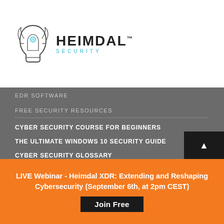[Figure (logo): Heimdal Security logo with stylized helmet icon and brand name HEIMDAL with SECURITY in blue lettering]
EDR SOFTWARE
FREE SECURITY RESOURCES
CYBER SECURITY COURSE FOR BEGINNERS
THE ULTIMATE WINDOWS 10 SECURITY GUIDE
CYBER SECURITY GLOSSARY
THE DAILY SECURITY TIP
CYBER SECURITY FOR SMALL BUSINESS OWNERS
CYBERSECURITY WEBINARS
LIVE Webinar - Heimdal XDR: Extending and Reshaping Cybersecurity (September 6th, at 2pm CEST)
Join Free